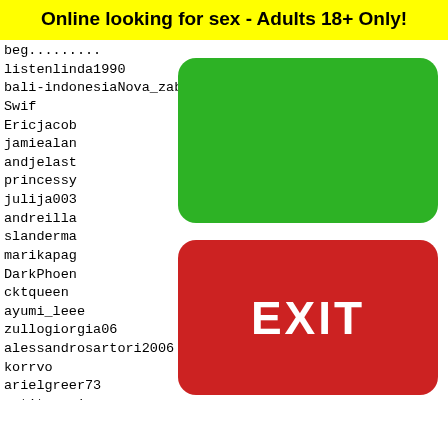Online looking for sex - Adults 18+ Only!
beg......
listenlinda1990
bali-indonesiaNova_zabbalo
Swif
Ericjacob
jamiealan
andjelast
princessy
julija003
andreilla
slanderma
marikapag
DarkPhoen
cktqueen
ayumi_leee
zullogiorgia06
alessandrosartori2006
korrvo
arielgreer73
petitcoquine
DoughB
nigger
Korean
yamiii
nicole
buchar
[Figure (other): Green button (no label)]
[Figure (other): Red EXIT button]
552 553 554 555 556
[Figure (illustration): Snapchat ghost logo on yellow background]